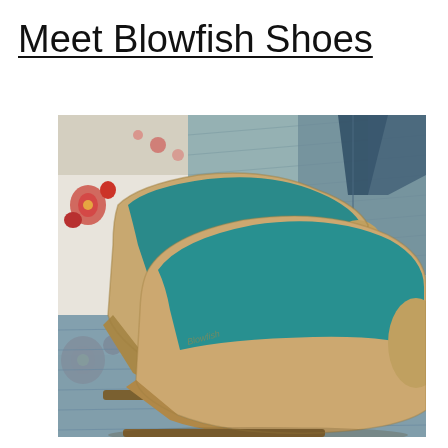Meet Blowfish Shoes
[Figure (photo): A pair of tan/nude wedge heel shoes with teal interior lining, placed on top of a floral quilt and denim fabric background]